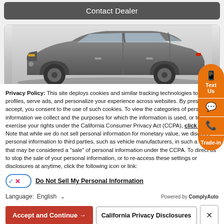Contact Dealer
[Figure (photo): Nissan SUV / crossover vehicle shown in profile view against a light grey background]
Privacy Policy: This site deploys cookies and similar tracking technologies to build profiles, serve ads, and personalize your experience across websites. By pressing accept, you consent to the use of such cookies. To view the categories of personal information we collect and the purposes for which the information is used, or to exercise your rights under the California Consumer Privacy Act (CCPA), click here. Note that while we do not sell personal information for monetary value, we disclose personal information to third parties, such as vehicle manufacturers, in such a way that may be considered a "sale" of personal information under the CCPA. To direct us to stop the sale of your personal information, or to re-access these settings or disclosures at anytime, click the following icon or link:
Do Not Sell My Personal Information
Language: English
Powered by ComplyAuto
Accept and Continue →
California Privacy Disclosures